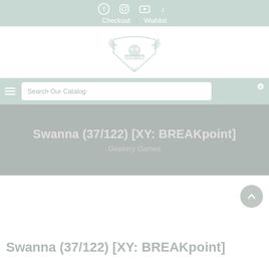Social icons: Facebook, Instagram, YouTube, TikTok | Checkout | Wishlist
[Figure (logo): Geekery Games winged shield logo in mint/grey tones]
Search Our Catalog
Swanna (37/122) [XY: BREAKpoint]
Geekery Games
Swanna (37/122) [XY: BREAKpoint]